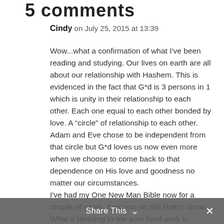5 comments
Cindy on July 25, 2015 at 13:39
Wow...what a confirmation of what I've been reading and studying. Our lives on earth are all about our relationship with Hashem. This is evidenced in the fact that G*d is 3 persons in 1 which is unity in their relationship to each other. Each one equal to each other bonded by love. A “circle” of relationship to each other. Adam and Eve chose to be independent from that circle but G*d loves us now even more when we choose to come back to that dependence on His love and goodness no matter our circumstances.
I've had my One New Man Bible now for a couple of years. Saw you on Sid Roth’s show. What a blessing to me your hard work in producing this version is. THANK YOU and G*d bless you and increase your endeavors!
Share This